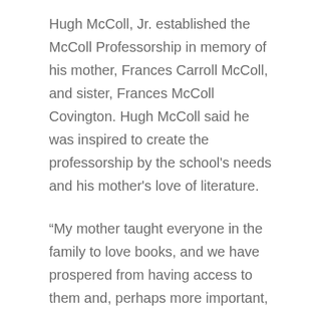Hugh McColl, Jr. established the McColl Professorship in memory of his mother, Frances Carroll McColl, and sister, Frances McColl Covington. Hugh McColl said he was inspired to create the professorship by the school's needs and his mother's love of literature.
“My mother taught everyone in the family to love books, and we have prospered from having access to them and, perhaps more important, knowing where to turn to find the information we need,” McColl said.
A second McColl Term Professorship was made